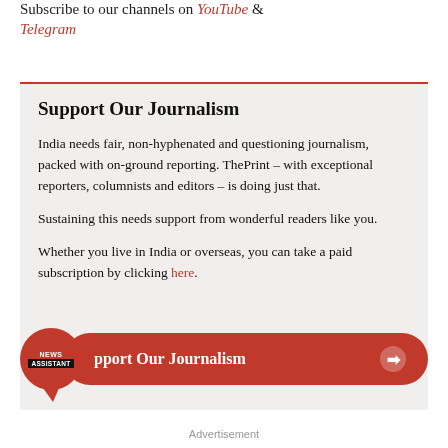Subscribe to our channels on YouTube & Telegram
Support Our Journalism
India needs fair, non-hyphenated and questioning journalism, packed with on-ground reporting. ThePrint – with exceptional reporters, columnists and editors – is doing just that.
Sustaining this needs support from wonderful readers like you.
Whether you live in India or overseas, you can take a paid subscription by clicking here.
[Figure (other): News Assistant logo icon, a red circular badge with speech bubble tail, containing 'NEWS' and 'ASSISTANT' text labels, alongside a red pill-shaped button reading 'Support Our Journalism' with an arrow icon]
Advertisement